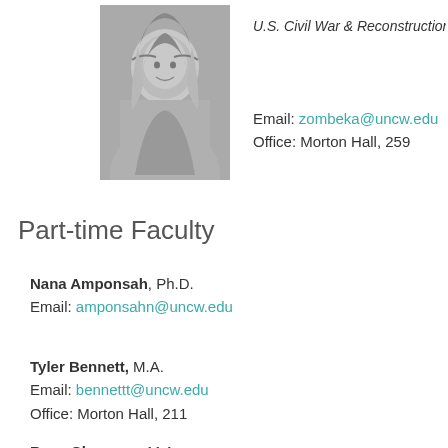[Figure (photo): Black and white headshot photo of a woman with long dark hair, smiling]
U.S. Civil War & Reconstruction, th...
Email: zombeka@uncw.edu
Office: Morton Hall, 259
Part-time Faculty
Nana Amponsah, Ph.D.
Email: amponsahn@uncw.edu
Tyler Bennett, M.A.
Email: bennettt@uncw.edu
Office: Morton Hall, 211
Ryan Chapman, M.A.
Email: chapmanri@uncw.edu